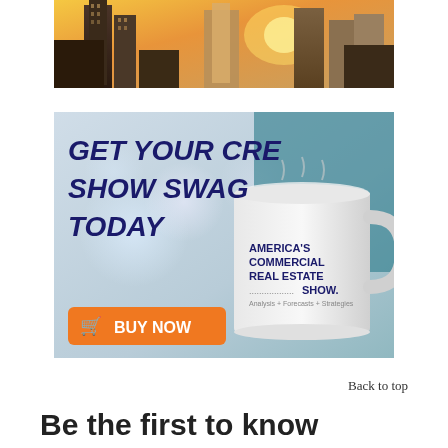[Figure (photo): City skyline with tall glass skyscrapers photographed at sunset with warm golden light]
[Figure (photo): Advertisement for CRE Show merchandise: 'GET YOUR CRE SHOW SWAG TODAY' in large bold dark blue italic text on left, with a white ceramic mug on right showing 'AMERICA'S COMMERCIAL REAL ESTATE SHOW. Analysis + Forecasts + Strategies' text. Orange 'BUY NOW' button with shopping cart icon at bottom left.]
Back to top
Be the first to know